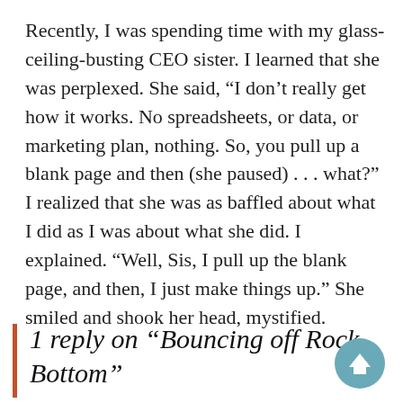Recently, I was spending time with my glass-ceiling-busting CEO sister. I learned that she was perplexed. She said, “I don’t really get how it works. No spreadsheets, or data, or marketing plan, nothing. So, you pull up a blank page and then (she paused) . . . what?” I realized that she was as baffled about what I did as I was about what she did. I explained. “Well, Sis, I pull up the blank page, and then, I just make things up.” She smiled and shook her head, mystified.
1 reply on “Bouncing off Rock Bottom”